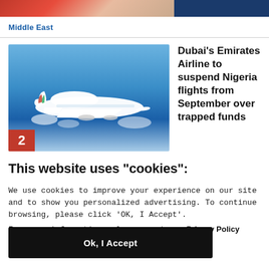[Figure (photo): Top partial image strip showing a news article thumbnail with red and skin-tone colors at the top of the page]
Middle East
[Figure (photo): Thumbnail image of an Emirates Airline aircraft (large white double-decker plane) flying through blue sky with clouds, with a red number 2 badge in the lower-left corner]
Dubai's Emirates Airline to suspend Nigeria flights from September over trapped funds
This website uses "cookies":
We use cookies to improve your experience on our site and to show you personalized advertising. To continue browsing, please click 'OK, I Accept'.
For more information, please read our Privacy Policy
Ok, I Accept